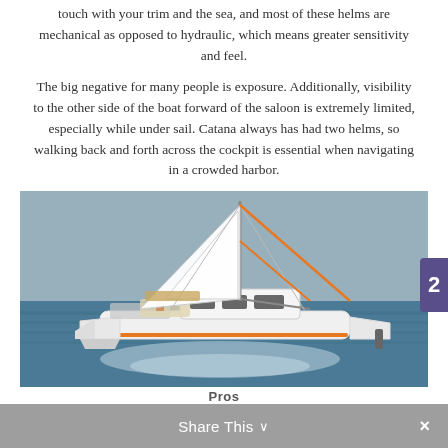touch with your trim and the sea, and most of these helms are mechanical as opposed to hydraulic, which means greater sensitivity and feel.
The big negative for many people is exposure. Additionally, visibility to the other side of the boat forward of the saloon is extremely limited, especially while under sail. Catana always has had two helms, so walking back and forth across the cockpit is essential when navigating in a crowded harbor.
[Figure (photo): A white catamaran sailboat with orange accents sailing on the ocean, viewed from the rear-quarter, with large white sails and people visible in the cockpit.]
Share This  ∨   ×   Pros